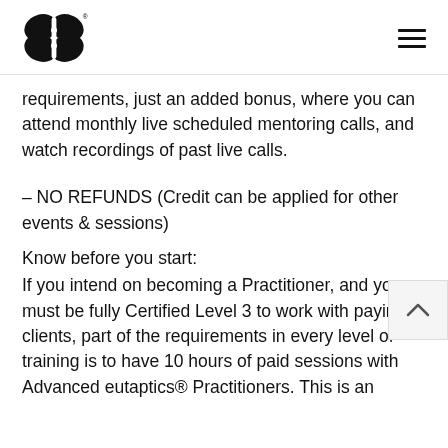[eutaptics logo] [hamburger menu]
requirements, just an added bonus, where you can attend monthly live scheduled mentoring calls, and watch recordings of past live calls.
– NO REFUNDS (Credit can be applied for other events & sessions)
Know before you start:
If you intend on becoming a Practitioner, and yo must be fully Certified Level 3 to work with payin clients, part of the requirements in every level of training is to have 10 hours of paid sessions with Advanced eutaptics® Practitioners. This is an